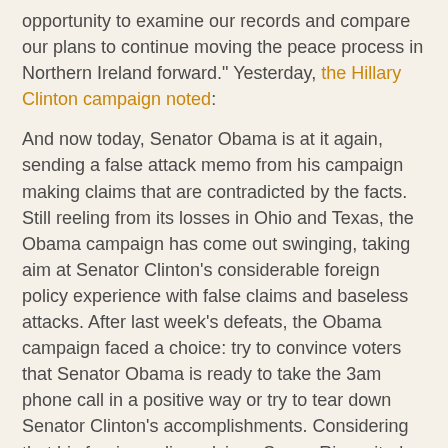opportunity to examine our records and compare our plans to continue moving the peace process in Northern Ireland forward." Yesterday, the Hillary Clinton campaign noted:
And now today, Senator Obama is at it again, sending a false attack memo from his campaign making claims that are contradicted by the facts. Still reeling from its losses in Ohio and Texas, the Obama campaign has come out swinging, taking aim at Senator Clinton's considerable foreign policy experience with false claims and baseless attacks. After last week's defeats, the Obama campaign faced a choice: try to convince voters that Senator Obama is ready to take the 3am phone call in a positive way or try to tear down Senator Clinton's accomplishments. Considering that his foreign policy advisor, Susan Rice, cited Senator Obama's "legislation on ethics reform" when asked this morning about his foreign policy experience, it is clear that the Obama campaign is unable to make a positive case for its candidate's experience. They have chosen to attack and today's memo continues the pattern of statements contradicted by the facts. Given the credibility gap his campaign has developed over the last few weeks, these